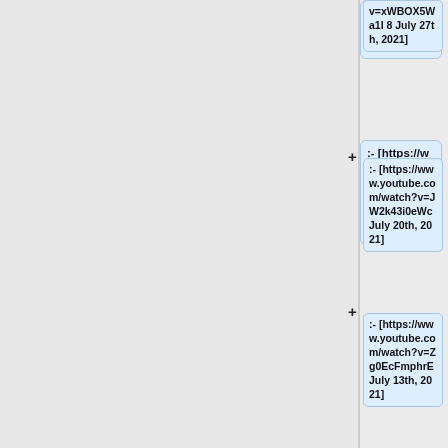v=xWBOX5Wa1I 8 July 27th, 2021]
:- [https://www.youtube.com/watch?v=JW2k43i0eWc July 20th, 2021]
:- [https://www.youtube.com/watch?v=Zg0EcFmphrE July 13th, 2021]
:- [https://www.youtube.com/watch?v=WGNjMawjr8